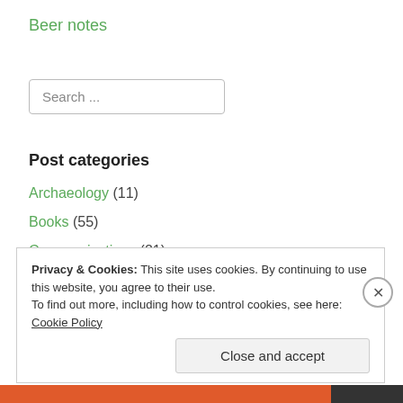Beer notes
Search ...
Post categories
Archaeology (11)
Books (55)
Communications (21)
Freelancing (5)
Internet (6)
Privacy & Cookies: This site uses cookies. By continuing to use this website, you agree to their use.
To find out more, including how to control cookies, see here: Cookie Policy
Close and accept